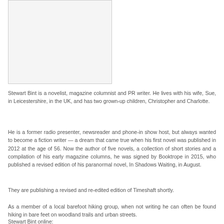[Figure (photo): Author photo placeholder, light gray rectangle with border]
Stewart Bint is a novelist, magazine columnist and PR writer. He lives with his wife, Sue, in Leicestershire, in the UK, and has two grown-up children, Christopher and Charlotte.
He is a former radio presenter, newsreader and phone-in show host, but always wanted to become a fiction writer — a dream that came true when his first novel was published in 2012 at the age of 56. Now the author of five novels, a collection of short stories and a compilation of his early magazine columns, he was signed by Booktrope in 2015, who published a revised edition of his paranormal novel, In Shadows Waiting, in August.
They are publishing a revised and re-edited edition of Timeshaft shortly.
As a member of a local barefoot hiking group, when not writing he can often be found hiking in bare feet on woodland trails and urban streets.
Stewart Bint online: